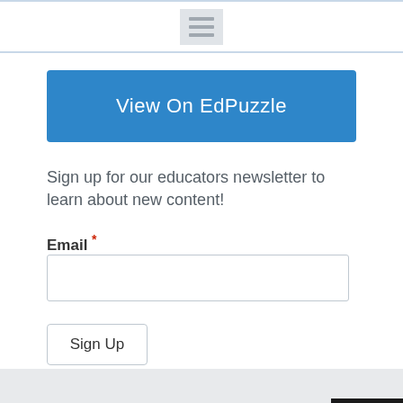View On EdPuzzle
Sign up for our educators newsletter to learn about new content!
Email *
Sign Up